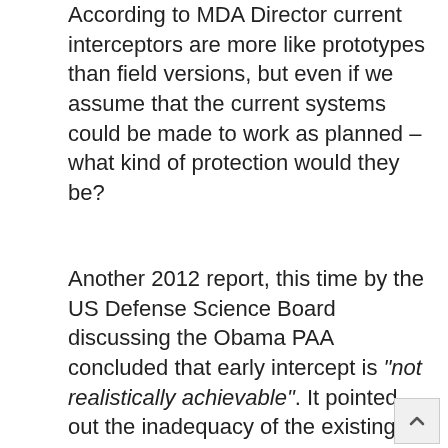According to MDA Director current interceptors are more like prototypes than field versions, but even if we assume that the current systems could be made to work as planned – what kind of protection would they be?
Another 2012 report, this time by the US Defense Science Board discussing the Obama PAA concluded that early intercept is "not realistically achievable". It pointed out the inadequacy of the existing Aegis radars and highlighted the problems of discriminating between warheads and other objects.
One major problem is that the limited number of anti-ballistic missiles could be overwhelmed by sheer numbers if an all out attack was launched on the US (or Europe), there would be little protection from the hundreds of missiles that could be launched. Another difficulty yet to oversome is that of countermeasures. Any state